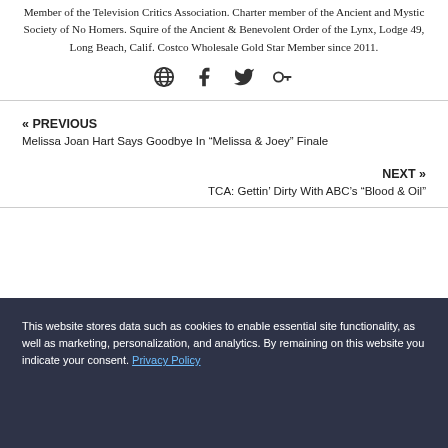Member of the Television Critics Association. Charter member of the Ancient and Mystic Society of No Homers. Squire of the Ancient & Benevolent Order of the Lynx, Lodge 49, Long Beach, Calif. Costco Wholesale Gold Star Member since 2011.
[Figure (other): Social media icons: globe, Facebook, Twitter, Google+]
« PREVIOUS
Melissa Joan Hart Says Goodbye In “Melissa & Joey” Finale
NEXT »
TCA: Gettin’ Dirty With ABC’s “Blood & Oil”
This website stores data such as cookies to enable essential site functionality, as well as marketing, personalization, and analytics. By remaining on this website you indicate your consent. Privacy Policy